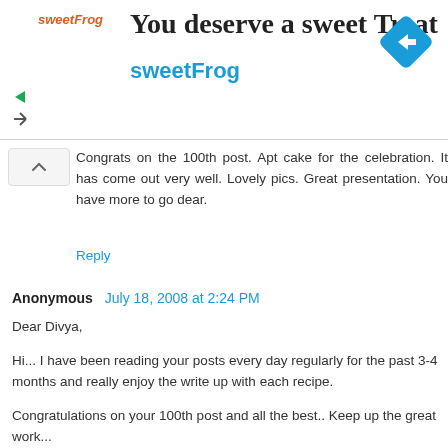[Figure (illustration): SweetFrog advertisement banner with logo, brand name, tagline 'You deserve a sweet Treat', and a blue diamond navigation icon]
Congrats on the 100th post. Apt cake for the celebration. It has come out very well. Lovely pics. Great presentation. You have more to go dear.
Reply
Anonymous  July 18, 2008 at 2:24 PM
Dear Divya,

Hi... I have been reading your posts every day regularly for the past 3-4 months and really enjoy the write up with each recipe.

Congratulations on your 100th post and all the best.. Keep up the great work...

Take care,
Priya Arun